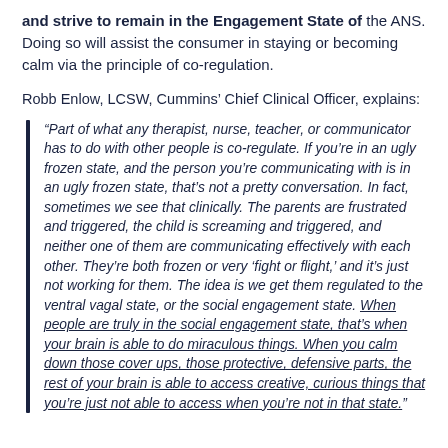and strive to remain in the Engagement State of the ANS. Doing so will assist the consumer in staying or becoming calm via the principle of co-regulation.
Robb Enlow, LCSW, Cummins' Chief Clinical Officer, explains:
“Part of what any therapist, nurse, teacher, or communicator has to do with other people is co-regulate. If you’re in an ugly frozen state, and the person you’re communicating with is in an ugly frozen state, that’s not a pretty conversation. In fact, sometimes we see that clinically. The parents are frustrated and triggered, the child is screaming and triggered, and neither one of them are communicating effectively with each other. They’re both frozen or very ‘fight or flight,’ and it’s just not working for them. The idea is we get them regulated to the ventral vagal state, or the social engagement state. When people are truly in the social engagement state, that’s when your brain is able to do miraculous things. When you calm down those cover ups, those protective, defensive parts, the rest of your brain is able to access creative, curious things that you’re just not able to access when you’re not in that state.”